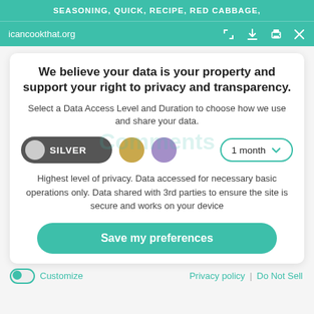SEASONING, QUICK, RECIPE, RED CABBAGE,
icancookthat.org
We believe your data is your property and support your right to privacy and transparency.
Select a Data Access Level and Duration to choose how we use and share your data.
[Figure (screenshot): Privacy consent UI with SILVER toggle selected, gold dot, purple dot, and a '1 month' dropdown]
Highest level of privacy. Data accessed for necessary basic operations only. Data shared with 3rd parties to ensure the site is secure and works on your device
Save my preferences
Customize   Privacy policy  |  Do Not Sell